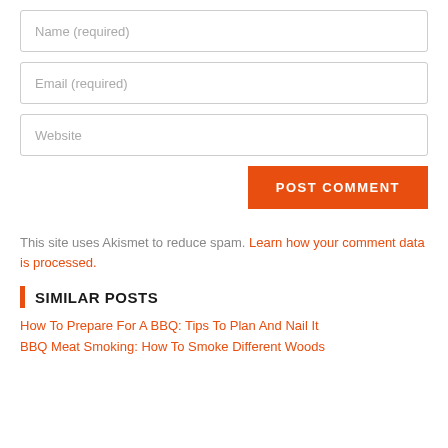Name (required)
Email (required)
Website
POST COMMENT
This site uses Akismet to reduce spam. Learn how your comment data is processed.
SIMILAR POSTS
How To Prepare For A BBQ: Tips To Plan And Nail It
BBQ Meat Smoking: How To Smoke Different Woods